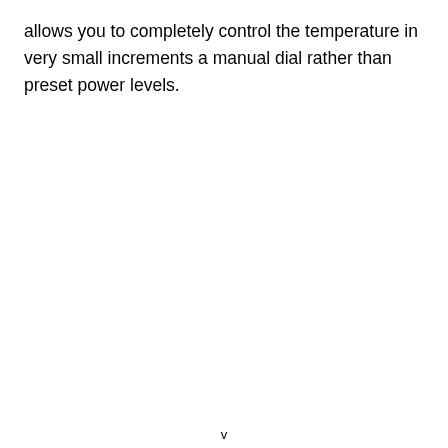allows you to completely control the temperature in very small increments a manual dial rather than preset power levels.
v